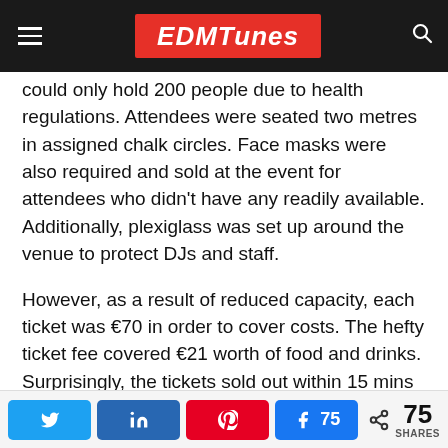EDMTunes
could only hold 200 people due to health regulations. Attendees were seated two metres in assigned chalk circles. Face masks were also required and sold at the event for attendees who didn't have any readily available. Additionally, plexiglass was set up around the venue to protect DJs and staff.
However, as a result of reduced capacity, each ticket was €70 in order to cover costs. The hefty ticket fee covered €21 worth of food and drinks. Surprisingly, the tickets sold out within 15 mins after going on sale online.
Additionally, DJs also charged lower performance fees. WDR, a German broadcasting organization reported that Janson had cut his fees by 80%. The focus of the event wasn't to make money, but to cover costs and 'send a sign of life'
75 SHARES